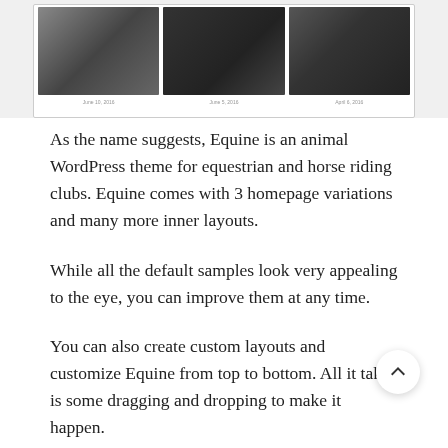[Figure (screenshot): Screenshot of a website showing three equestrian/horse riding photos in a row with captions below each image]
As the name suggests, Equine is an animal WordPress theme for equestrian and horse riding clubs. Equine comes with 3 homepage variations and many more inner layouts.
While all the default samples look very appealing to the eye, you can improve them at any time.
You can also create custom layouts and customize Equine from top to bottom. All it takes is some dragging and dropping to make it happen.
What's more?